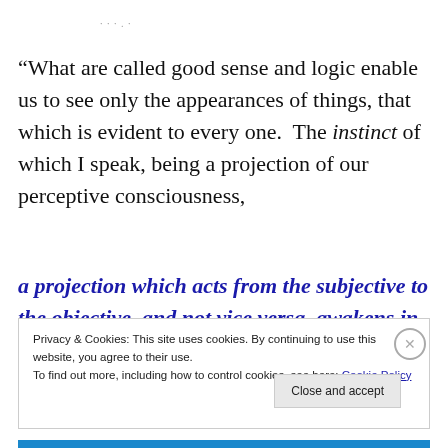· · · . ·
“What are called good sense and logic enable us to see only the appearances of things, that which is evident to every one.  The instinct of which I speak, being a projection of our perceptive consciousness,
a projection which acts from the subjective to the objective, and not vice versa, awakens in us spiritual
Privacy & Cookies: This site uses cookies. By continuing to use this website, you agree to their use.
To find out more, including how to control cookies, see here: Cookie Policy
Close and accept